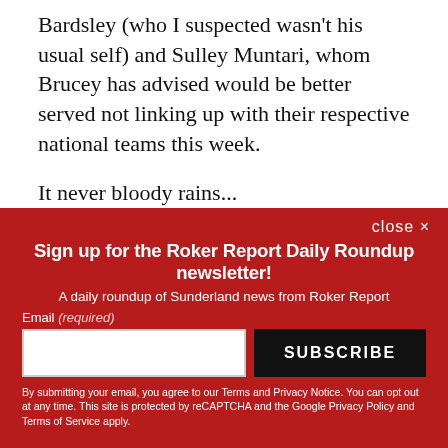Bardsley (who I suspected wasn't his usual self) and Sulley Muntari, whom Brucey has advised would be better served not linking up with their respective national teams this week.
It never bloody rains...
close ×
Sign up for the Roker Report Daily Roundup newsletter!
A daily roundup of Sunderland news from Roker Report
Email (required)
SUBSCRIBE
By submitting your email, you agree to our Terms and Privacy Notice. You can opt out at any time. This site is protected by reCAPTCHA and the Google Privacy Policy and Terms of Service apply.